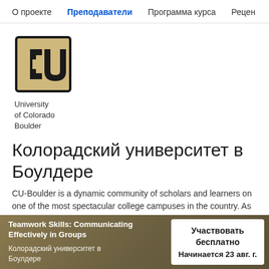О проекте  Преподаватели  Программа курса  Рецен...
[Figure (logo): University of Colorado Boulder shield logo with CU letters]
University
of Colorado
Boulder
Колорадский университет в Боулдере
CU-Boulder is a dynamic community of scholars and learners on one of the most spectacular college campuses in the country. As one of 34 U.S. public institutions in the prestigious...
Teamwork Skills: Communicating Effectively in Groups
Колорадский университет в Боулдере
Участвовать бесплатно
Начинается 23 авг. г.